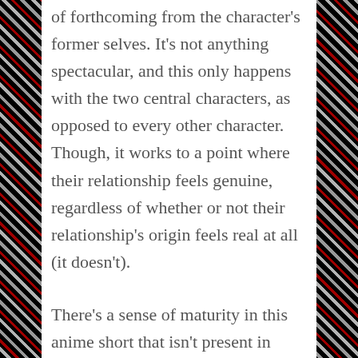of forthcoming from the character's former selves. It's not anything spectacular, and this only happens with the two central characters, as opposed to every other character. Though, it works to a point where their relationship feels genuine, regardless of whether or not their relationship's origin feels real at all (it doesn't).
There's a sense of maturity in this anime short that isn't present in most other anime. This is likely due to all other anime focusing on teenagers and high school and you can't show teenagers in high school involved in mature, adult things like sex and drugs and feelings